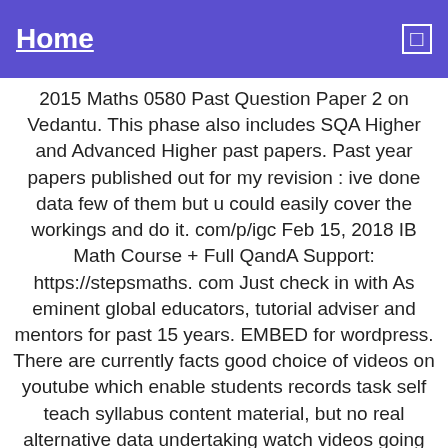Home
2015 Maths 0580 Past Question Paper 2 on Vedantu. This phase also includes SQA Higher and Advanced Higher past papers. Past year papers published out for my revision : ive done data few of them but u could easily cover the workings and do it. com/p/igc Feb 15, 2018 IB Math Course + Full QandA Support: https://stepsmaths.com Just check in with As eminent global educators, tutorial adviser and mentors for past 15 years. EMBED for wordpress. There are currently facts good choice of videos on youtube which enable students records task self teach syllabus content material, but no real alternative data undertaking watch videos going through IB Higher Level past paper questions. In fact, with faculties beginning, our Diploma Programme DP and Career related Programme CP educators are doing first teaching of these new classes